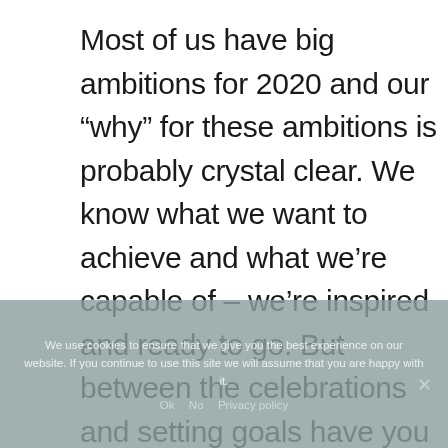Most of us have big ambitions for 2020 and our “why” for these ambitions is probably crystal clear. We know what we want to achieve and what we’re capable of – we’re inspired and ready to go. But between the celebrations and setting goals have you given thought to “how” you will go about fulfilling each goal?
We use cookies to ensure that we give you the best experience on our website. If you continue to use this site we will assume that you are happy with it.
Ok  No  Privacy policy